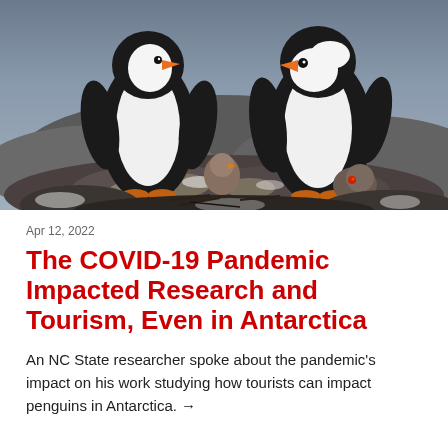[Figure (photo): Two adult gentoo penguins with a chick on a rocky nest in Antarctica. The penguins have black and white coloring with orange beaks. Rocky, icy terrain is visible in the background.]
Apr 12, 2022
The COVID-19 Pandemic Impacted Research and Tourism, Even in Antarctica
An NC State researcher spoke about the pandemic's impact on his work studying how tourists can impact penguins in Antarctica. →